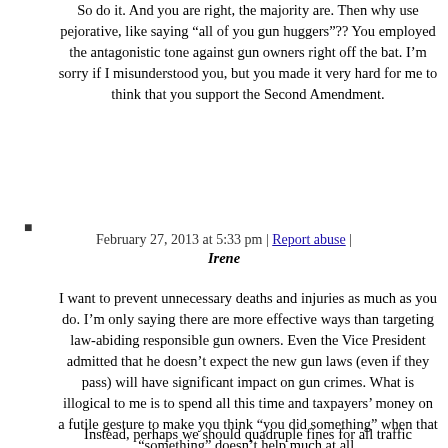So do it. And you are right, the majority are. Then why use pejorative, like saying “all of you gun huggers”?? You employed the antagonistic tone against gun owners right off the bat. I’m sorry if I misunderstood you, but you made it very hard for me to think that you support the Second Amendment.
February 27, 2013 at 5:33 pm | Report abuse | Irene
I want to prevent unnecessary deaths and injuries as much as you do. I’m only saying there are more effective ways than targeting law-abiding responsible gun owners. Even the Vice President admitted that he doesn’t expect the new gun laws (even if they pass) will have significant impact on gun crimes. What is illogical to me is to spend all this time and taxpayers’ money on a futile gesture to make you think “you did something” when that “something” doesn’t help much at all.
Instead, perhaps we should quadruple fines for all traffic offenses, ban eating behind the wheel, make anyone who knowingly lets drunk people